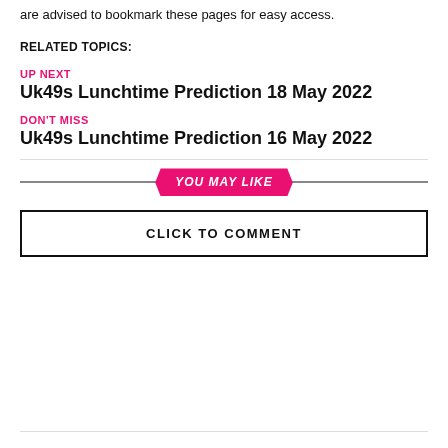are advised to bookmark these pages for easy access.
RELATED TOPICS:
UP NEXT
Uk49s Lunchtime Prediction 18 May 2022
DON'T MISS
Uk49s Lunchtime Prediction 16 May 2022
YOU MAY LIKE
CLICK TO COMMENT